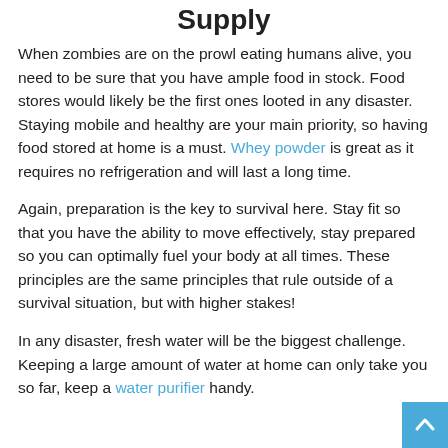Supply
When zombies are on the prowl eating humans alive, you need to be sure that you have ample food in stock. Food stores would likely be the first ones looted in any disaster. Staying mobile and healthy are your main priority, so having food stored at home is a must. Whey powder is great as it requires no refrigeration and will last a long time.
Again, preparation is the key to survival here. Stay fit so that you have the ability to move effectively, stay prepared so you can optimally fuel your body at all times. These principles are the same principles that rule outside of a survival situation, but with higher stakes!
In any disaster, fresh water will be the biggest challenge. Keeping a large amount of water at home can only take you so far, keep a water purifier handy.